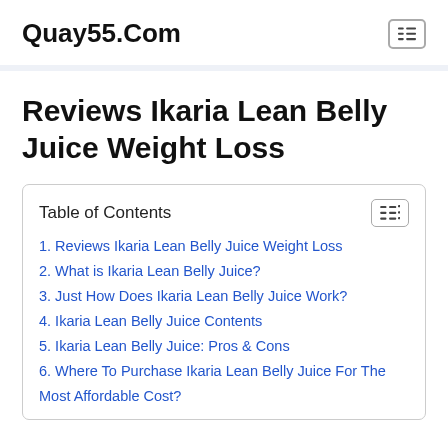Quay55.Com
Reviews Ikaria Lean Belly Juice Weight Loss
| Table of Contents |
| --- |
| 1. Reviews Ikaria Lean Belly Juice Weight Loss |
| 2. What is Ikaria Lean Belly Juice? |
| 3. Just How Does Ikaria Lean Belly Juice Work? |
| 4. Ikaria Lean Belly Juice Contents |
| 5. Ikaria Lean Belly Juice: Pros & Cons |
| 6. Where To Purchase Ikaria Lean Belly Juice For The Most Affordable Cost? |